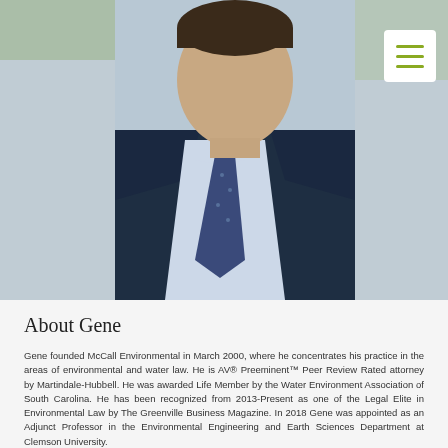[Figure (photo): Professional headshot of Gene, a man in a dark navy suit with a light blue shirt and patterned tie]
About Gene
Gene founded McCall Environmental in March 2000, where he concentrates his practice in the areas of environmental and water law. He is AV® Preeminent™ Peer Review Rated attorney by Martindale-Hubbell. He was awarded Life Member by the Water Environment Association of South Carolina. He has been recognized from 2013-Present as one of the Legal Elite in Environmental Law by The Greenville Business Magazine. In 2018 Gene was appointed as an Adjunct Professor in the Environmental Engineering and Earth Sciences Department at Clemson University.
Gene is also a SC registered professional engineer, a SC Certified Erosion Prevention and Sediment Control Inspector, and a SC Certified Inspector for Stormwater BMP Inspection and Maintenance.
Prior to opening his own law firm, McCall Environmental, P.A., in March 2000, he was a